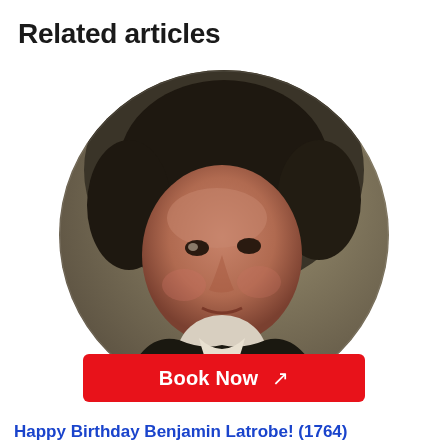Related articles
[Figure (photo): Circular portrait painting of Benjamin Latrobe, a man with dark curly hair wearing a dark coat with a white cravat, painted in a classical 18th/19th century style]
Book Now ↗
Happy Birthday Benjamin Latrobe! (1764)